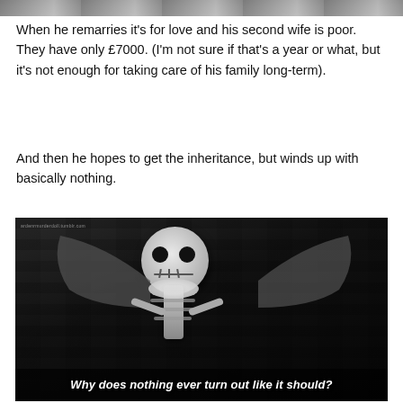[Figure (photo): Partial image strip at top of page, partially cropped]
When he remarries it's for love and his second wife is poor. They have only £7000. (I'm not sure if that's a year or what, but it's not enough for taking care of his family long-term).
And then he hopes to get the inheritance, but winds up with basically nothing.
[Figure (photo): Black and white image of Jack Skellington from The Nightmare Before Christmas with subtitle: 'Why does nothing ever turn out like it should?']